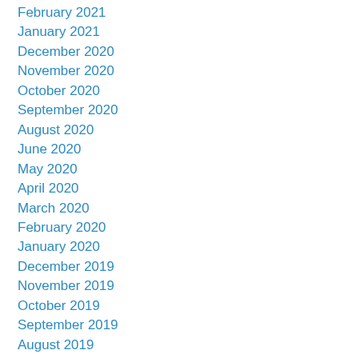February 2021
January 2021
December 2020
November 2020
October 2020
September 2020
August 2020
June 2020
May 2020
April 2020
March 2020
February 2020
January 2020
December 2019
November 2019
October 2019
September 2019
August 2019
July 2019
June 2019
May 2019